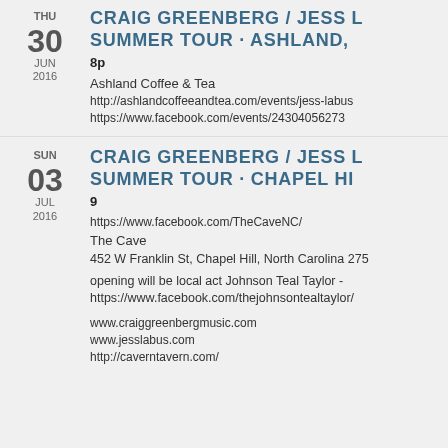THU 30 JUN 2016 — CRAIG GREENBERG / JESS L SUMMER TOUR · ASHLAND, — 8p — Ashland Coffee & Tea — http://ashlandcoffeeandtea.com/events/jess-labus — https://www.facebook.com/events/24304056273
SUN 03 JUL 2016 — CRAIG GREENBERG / JESS L SUMMER TOUR · CHAPEL HI — 9 — https://www.facebook.com/TheCaveNC/ — The Cave — 452 W Franklin St, Chapel Hill, North Carolina 275 — opening will be local act Johnson Teal Taylor - https://www.facebook.com/thejohnsontealtaylor/ — www.craiggreenbergmusic.com — www.jesslabus.com — http://caverntavern.com/